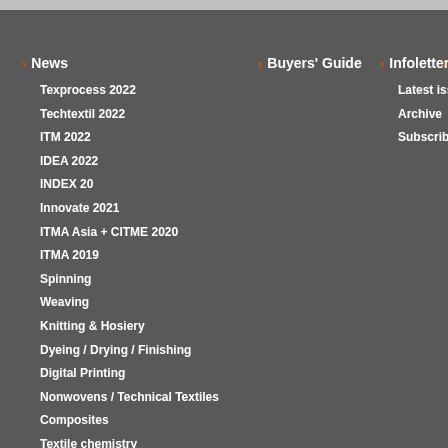News
Texprocess 2022
Techtextil 2022
ITM 2022
IDEA 2022
INDEX 20
Innovate 2021
ITMA Asia + CITME 2020
ITMA 2019
Spinning
Weaving
Knitting & Hosiery
Dyeing / Drying / Finishing
Digital Printing
Nonwovens / Technical Textiles
Composites
Textile chemistry
Sustainability
Yarn & Fiber
Software
Business
Associations
Buyers' Guide
Infoletter
Latest issue
Archive
Subscribe